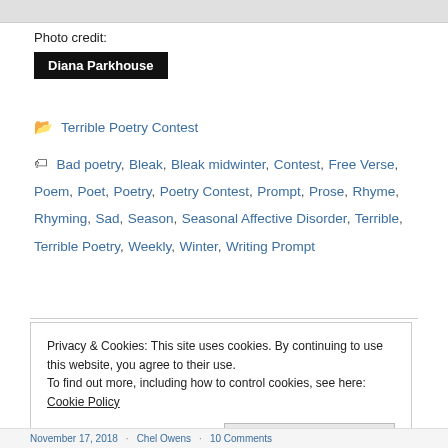Photo credit:
Diana Parkhouse
Terrible Poetry Contest
Bad poetry, Bleak, Bleak midwinter, Contest, Free Verse, Poem, Poet, Poetry, Poetry Contest, Prompt, Prose, Rhyme, Rhyming, Sad, Season, Seasonal Affective Disorder, Terrible, Terrible Poetry, Weekly, Winter, Writing Prompt
Privacy & Cookies: This site uses cookies. By continuing to use this website, you agree to their use. To find out more, including how to control cookies, see here: Cookie Policy
Close and accept
November 17, 2018 · Chel Owens · 10 Comments